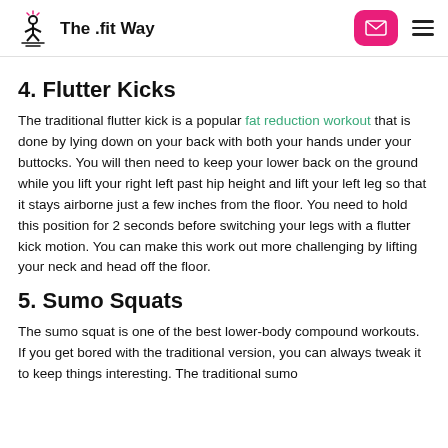The .fit Way
4. Flutter Kicks
The traditional flutter kick is a popular fat reduction workout that is done by lying down on your back with both your hands under your buttocks. You will then need to keep your lower back on the ground while you lift your right left past hip height and lift your left leg so that it stays airborne just a few inches from the floor. You need to hold this position for 2 seconds before switching your legs with a flutter kick motion. You can make this work out more challenging by lifting your neck and head off the floor.
5. Sumo Squats
The sumo squat is one of the best lower-body compound workouts. If you get bored with the traditional version, you can always tweak it to keep things interesting. The traditional sumo